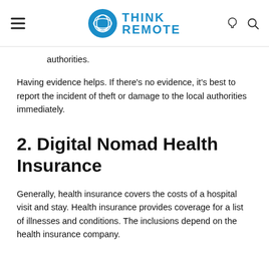Think Remote
authorities.
Having evidence helps. If there's no evidence, it's best to report the incident of theft or damage to the local authorities immediately.
2. Digital Nomad Health Insurance
Generally, health insurance covers the costs of a hospital visit and stay. Health insurance provides coverage for a list of illnesses and conditions. The inclusions depend on the health insurance company.